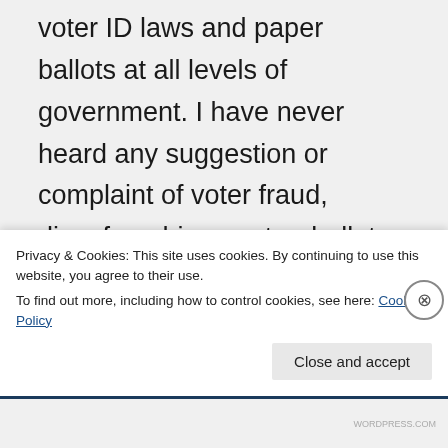voter ID laws and paper ballots at all levels of government. I have never heard any suggestion or complaint of voter fraud, disenfranchisement or ballot harvesting in Canada.
Thank you for being
Privacy & Cookies: This site uses cookies. By continuing to use this website, you agree to their use.
To find out more, including how to control cookies, see here: Cookie Policy